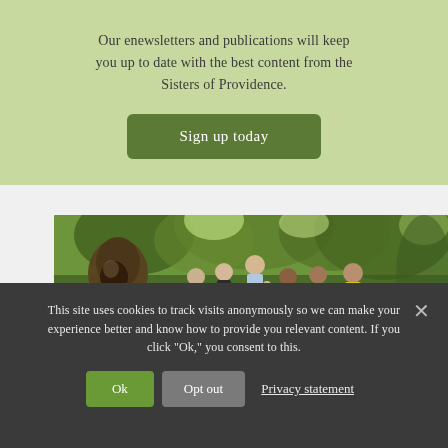Our enewsletters and publications will keep you up to date with the best content from the Sisters of Providence.
Sign up today
[Figure (photo): A bronze statue of a hooded figure in the foreground with a group of six young women standing and smiling among green trees in the background outdoors.]
This site uses cookies to track visits anonymously so we can make your experience better and know how to provide you relevant content. If you click "Ok," you consent to this.
Ok
Opt out
Privacy statement